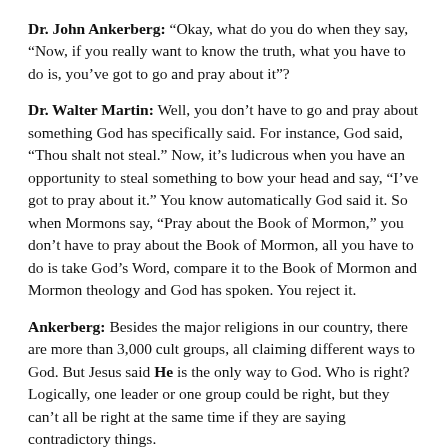Dr. John Ankerberg: “Okay, what do you do when they say, “Now, if you really want to know the truth, what you have to do is, you’ve got to go and pray about it”?
Dr. Walter Martin: Well, you don’t have to go and pray about something God has specifically said. For instance, God said, “Thou shalt not steal.” Now, it’s ludicrous when you have an opportunity to steal something to bow your head and say, “I’ve got to pray about it.” You know automatically God said it. So when Mormons say, “Pray about the Book of Mormon,” you don’t have to pray about the Book of Mormon, all you have to do is take God’s Word, compare it to the Book of Mormon and Mormon theology and God has spoken. You reject it.
Ankerberg: Besides the major religions in our country, there are more than 3,000 cult groups, all claiming different ways to God. But Jesus said He is the only way to God. Who is right? Logically, one leader or one group could be right, but they can’t all be right at the same time if they are saying contradictory things.
If you are a Christian, do you know how to present the evidence